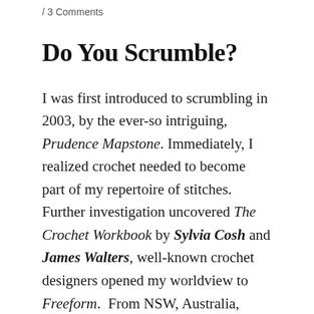/ 3 Comments
Do You Scrumble?
I was first introduced to scrumbling in 2003, by the ever-so intriguing, Prudence Mapstone. Immediately, I realized crochet needed to become part of my repertoire of stitches. Further investigation uncovered The Crochet Workbook by Sylvia Cosh and James Walters, well-known crochet designers opened my worldview to Freeform.  From NSW, Australia, Jenny Dowde also explores color, texture and freeform with her scrumbling, Freeform Knitting and Crochet along with  FREEformations include